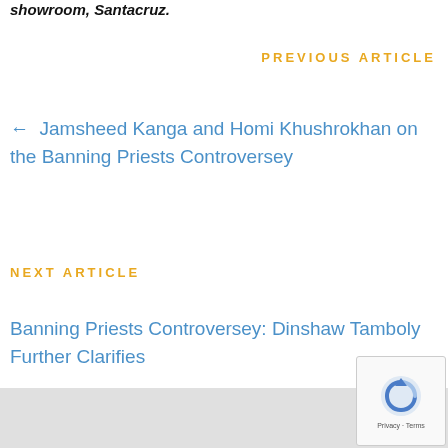showroom, Santacruz.
Previous Article
← Jamsheed Kanga and Homi Khushrokhan on the Banning Priests Controversey
Next Article
Banning Priests Controversey: Dinshaw Tamboly Further Clarifies
→